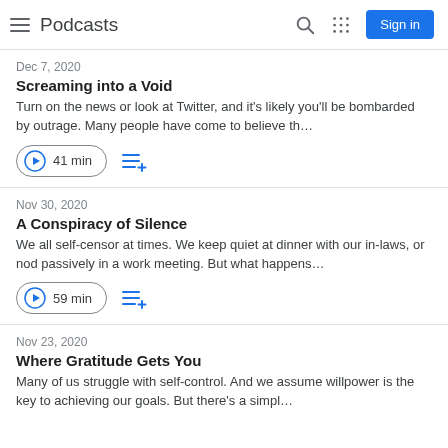Podcasts
Dec 7, 2020
Screaming into a Void
Turn on the news or look at Twitter, and it's likely you'll be bombarded by outrage. Many people have come to believe th…
41 min
Nov 30, 2020
A Conspiracy of Silence
We all self-censor at times. We keep quiet at dinner with our in-laws, or nod passively in a work meeting. But what happens…
59 min
Nov 23, 2020
Where Gratitude Gets You
Many of us struggle with self-control. And we assume willpower is the key to achieving our goals. But there's a simpl…